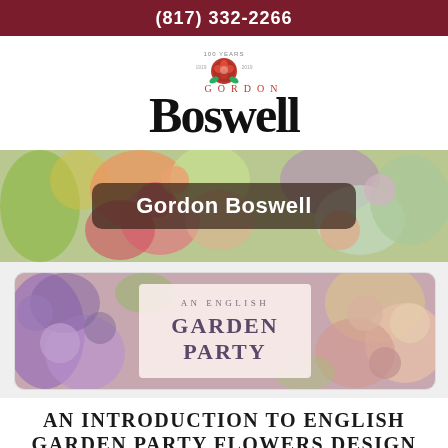(817) 332-2266
[Figure (logo): Gordon Boswell Flowers logo with 100 Years rose badge, red rose icon above the text 'GORDON' and large serif 'Boswell']
[Figure (photo): Colorful floral banner photo with a dark rounded rectangle overlay containing the text 'Gordon Boswell']
[Figure (photo): Floral arrangement photo card with a soft pink box in center reading 'AN ENGLISH GARDEN PARTY']
AN INTRODUCTION TO ENGLISH GARDEN PARTY FLOWERS DESIGN